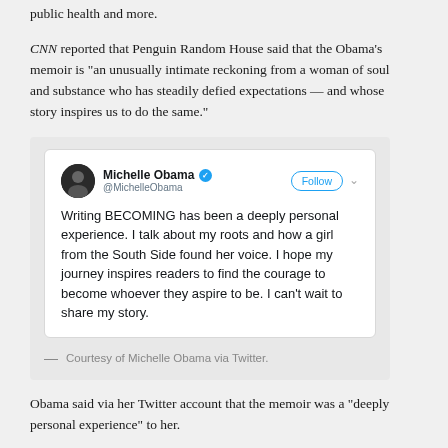public health and more.
CNN reported that Penguin Random House said that the Obama’s memoir is “an unusually intimate reckoning from a woman of soul and substance who has steadily defied expectations — and whose story inspires us to do the same.”
[Figure (screenshot): A screenshot of a tweet by Michelle Obama (@MichelleObama) with a verified badge and Follow button. Tweet text: ‘Writing BECOMING has been a deeply personal experience. I talk about my roots and how a girl from the South Side found her voice. I hope my journey inspires readers to find the courage to become whoever they aspire to be. I can’t wait to share my story.’]
— Courtesy of Michelle Obama via Twitter.
Obama said via her Twitter account that the memoir was a “deeply personal experience” to her.